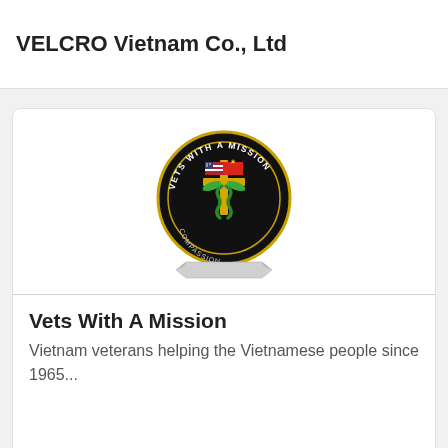VELCRO Vietnam Co., Ltd
[Figure (logo): Vets With A Mission circular logo with black background, featuring a cross, American and Vietnamese flags, and a snake/staff symbol. Text around the circle reads 'VETS WITH A MISSION'. Below the circle is a banner ribbon.]
Vets With A Mission
Vietnam veterans helping the Vietnamese people since 1965...